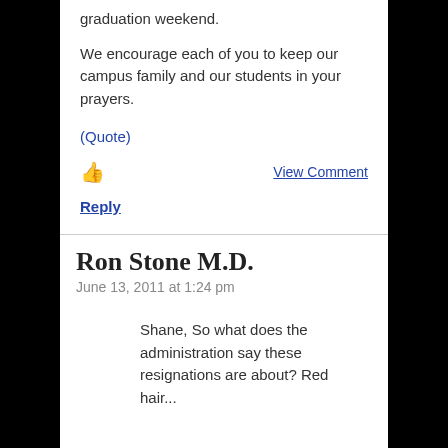graduation weekend.
We encourage each of you to keep our campus family and our students in your prayers.
(Quote)
👍  View Comment
Reply
Ron Stone M.D.
June 13, 2011 at 1:24 pm
Shane, So what does the administration say these resignations are about? Red hair...